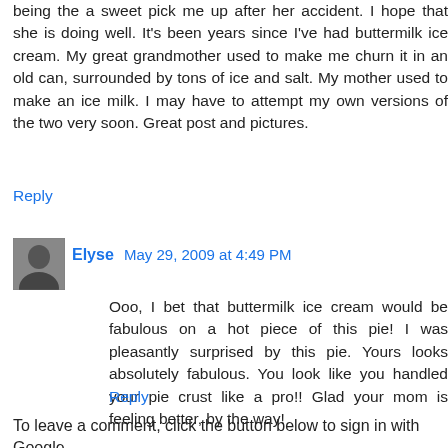being the a sweet pick me up after her accident. I hope that she is doing well. It's been years since I've had buttermilk ice cream. My great grandmother used to make me churn it in an old can, surrounded by tons of ice and salt. My mother used to make an ice milk. I may have to attempt my own versions of the two very soon. Great post and pictures.
Reply
Elyse May 29, 2009 at 4:49 PM
Ooo, I bet that buttermilk ice cream would be fabulous on a hot piece of this pie! I was pleasantly surprised by this pie. Yours looks absolutely fabulous. You look like you handled your pie crust like a pro!! Glad your mom is feeling better, by the way!
Reply
To leave a comment, click the button below to sign in with Google.
SIGN IN WITH GOOGLE